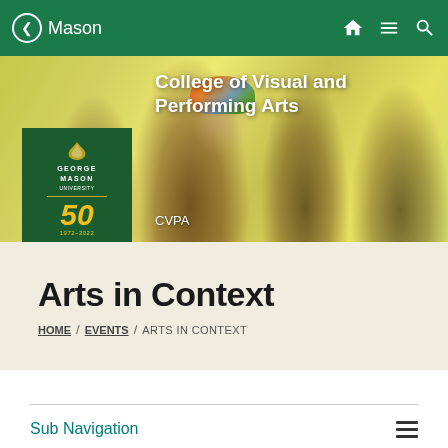Mason
[Figure (photo): Hero banner photo showing students in front of a yellow-green background. George Mason University CVPA 50th anniversary logo overlaid on the left. Text 'College of Visual and Performing Arts' and 'CVPA' overlaid in white.]
Arts in Context
HOME / EVENTS / ARTS IN CONTEXT
Sub Navigation